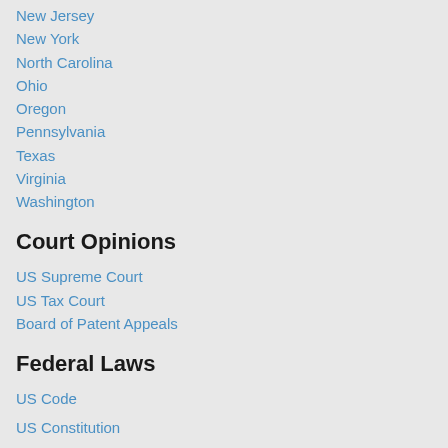New Jersey
New York
North Carolina
Ohio
Oregon
Pennsylvania
Texas
Virginia
Washington
Court Opinions
US Supreme Court
US Tax Court
Board of Patent Appeals
Federal Laws
US Code
US Constitution
Preamble
Art. I - Legislative
Art. II - Executive
Art. III - Judicial